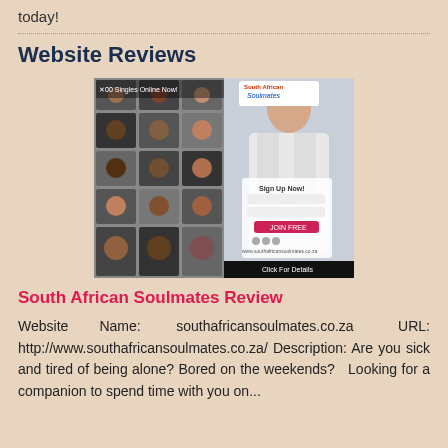today!
Website Reviews
[Figure (screenshot): Screenshot of South African Soulmates dating website showing a collage of profile photos on the left and a sign-up form with a man in white shirt on the right, with 'Click For Details' button at the bottom.]
South African Soulmates Review
Website Name: southafricansoulmates.co.za URL: http://www.southafricansoulmates.co.za/ Description: Are you sick and tired of being alone? Bored on the weekends?  Looking for a companion to spend time with you on...